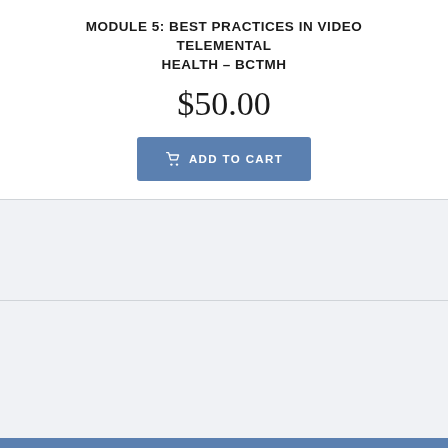MODULE 5: BEST PRACTICES IN VIDEO TELEMENTAL HEALTH – BCTMH
$50.00
[Figure (other): Add to Cart button with shopping cart icon, blue background, white text reading 'ADD TO CART']